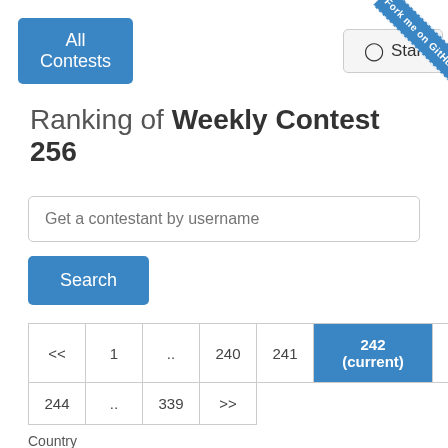All Contests
Star
Fork me on GitHub
Ranking of Weekly Contest 256
Get a contestant by username
Search
| << | 1 | .. | 240 | 241 | 242 (current) | 243 |
| --- | --- | --- | --- | --- | --- | --- |
| 244 | .. | 339 | >> |  |  |  |
Country
All
#    Username    Rank    Previous rating    F...